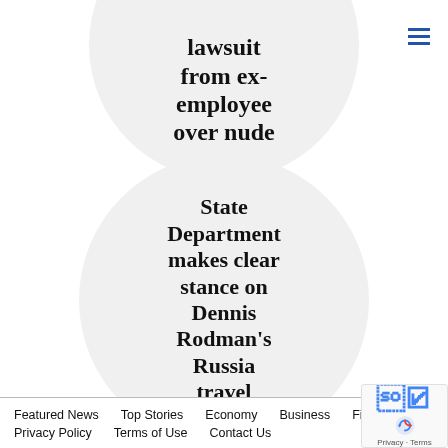[Figure (illustration): Circular thumbnail with bold serif text reading 'lawsuit from ex-employee over nude' (partially cropped), light gray circle background]
[Figure (illustration): Circular thumbnail with bold serif text reading 'State Department makes clear stance on Dennis Rodman's Russia travel', light gray circle background]
Featured News   Top Stories   Economy   Business   Financial   Privacy Policy   Terms of Use   Contact Us